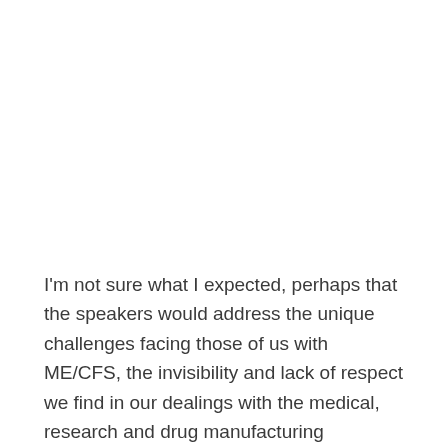I'm not sure what I expected, perhaps that the speakers would address the unique challenges facing those of us with ME/CFS, the invisibility and lack of respect we find in our dealings with the medical, research and drug manufacturing communities. Maybe I thought the speakers would bring us some insights into why we have